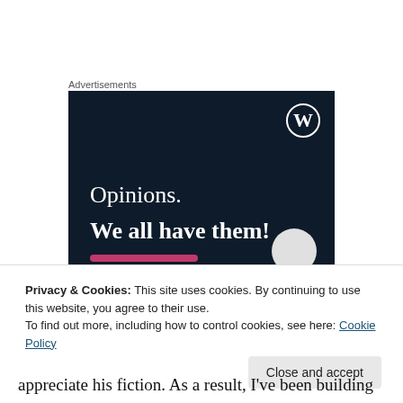Advertisements
[Figure (illustration): WordPress advertisement banner with dark navy background showing text 'Opinions. We all have them!' with WordPress logo in top right corner, a pink/red button bar at bottom left and a light grey circle at bottom right.]
Privacy & Cookies: This site uses cookies. By continuing to use this website, you agree to their use.
To find out more, including how to control cookies, see here: Cookie Policy
appreciate his fiction. As a result, I've been building up a